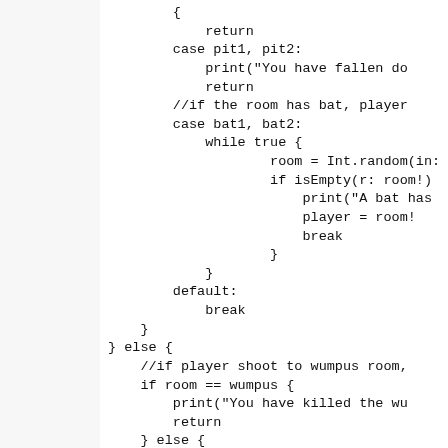Code snippet showing Swift/Wumpus game logic with switch cases for pit1/pit2, bat1/bat2, default, and else block for shooting at wumpus room.